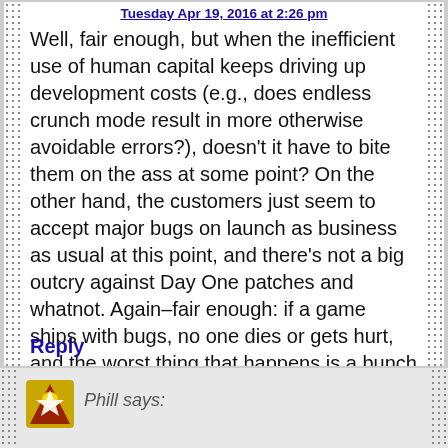Tuesday Apr 19, 2016 at 2:26 pm
Well, fair enough, but when the inefficient use of human capital keeps driving up development costs (e.g., does endless crunch mode result in more otherwise avoidable errors?), doesn't it have to bite them on the ass at some point? On the other hand, the customers just seem to accept major bugs on launch as business as usual at this point, and there's not a big outcry against Day One patches and whatnot. Again–fair enough: if a game ships with bugs, no one dies or gets hurt, and the worst thing that happens is a bunch of complainers flood social media, AKA every other day on the internet. No wonder game publishers have no incentive to change.
Reply
Phill says: